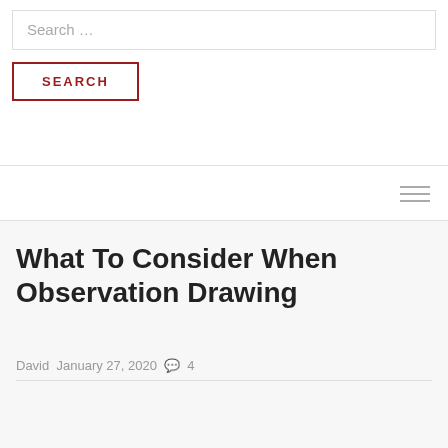Search …
SEARCH
[Figure (screenshot): Hamburger menu icon with three horizontal lines]
What To Consider When Observation Drawing
David  January 27, 2020  💬  4